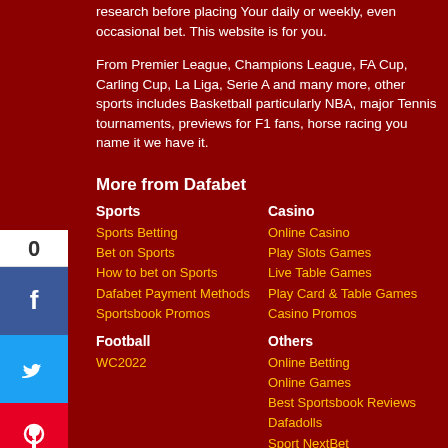research before placing Your daily or weekly, even occasional bet. This website is for you.
From Premier League, Champions League, FA Cup, Carling Cup, La Liga, Serie A and many more, other sports includes Basketball particularly NBA, major Tennis tournaments, previews for F1 fans, horse racing you name it we have it.
More from Dafabet
Sports
Sports Betting
Bet on Sports
How to bet on Sports
Dafabet Payment Methods
Sportsbook Promos
Casino
Online Casino
Play Slots Games
Live Table Games
Play Card & Table Games
Casino Promos
Football
WC2022
Others
Online Betting
Online Games
Best Sportsbook Reviews
Dafadolls
Sport NextBet
Live Dealer
Arcade
Lottery
Virtuals